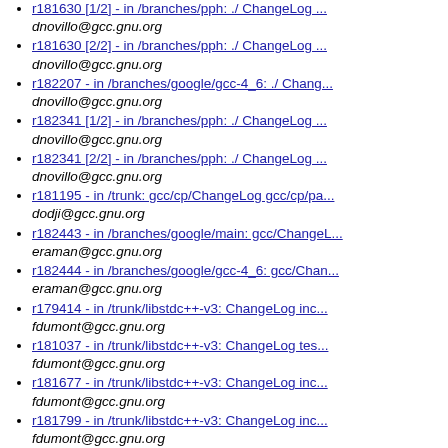r181630 [1/2] - in /branches/pph: ./ ChangeLog ...
dnovillo@gcc.gnu.org
r181630 [2/2] - in /branches/pph: ./ ChangeLog ...
dnovillo@gcc.gnu.org
r182207 - in /branches/google/gcc-4_6: ./ Chang...
dnovillo@gcc.gnu.org
r182341 [1/2] - in /branches/pph: ./ ChangeLog ...
dnovillo@gcc.gnu.org
r182341 [2/2] - in /branches/pph: ./ ChangeLog ...
dnovillo@gcc.gnu.org
r181195 - in /trunk: gcc/cp/ChangeLog gcc/cp/pa...
dodji@gcc.gnu.org
r182443 - in /branches/google/main: gcc/ChangeL...
eraman@gcc.gnu.org
r182444 - in /branches/google/gcc-4_6: gcc/Chan...
eraman@gcc.gnu.org
r179414 - in /trunk/libstdc++-v3: ChangeLog inc...
fdumont@gcc.gnu.org
r181037 - in /trunk/libstdc++-v3: ChangeLog tes...
fdumont@gcc.gnu.org
r181677 - in /trunk/libstdc++-v3: ChangeLog inc...
fdumont@gcc.gnu.org
r181799 - in /trunk/libstdc++-v3: ChangeLog inc...
fdumont@gcc.gnu.org
r182085 - in /trunk/libstdc++-v3: ChangeLog inc...